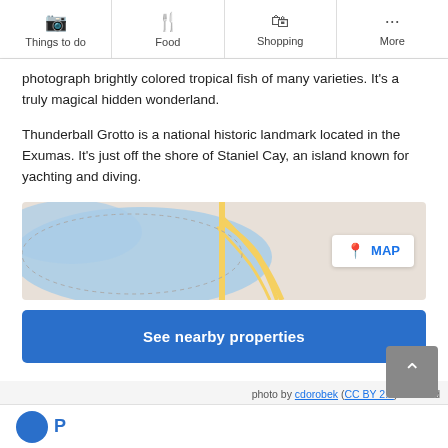Things to do | Food | Shopping | More
photograph brightly colored tropical fish of many varieties. It's a truly magical hidden wonderland.

Thunderball Grotto is a national historic landmark located in the Exumas. It's just off the shore of Staniel Cay, an island known for yachting and diving.
[Figure (map): Map thumbnail showing roads and waterways with a MAP badge in the top right corner]
See nearby properties
photo by cdorobek (CC BY 2.0) modified